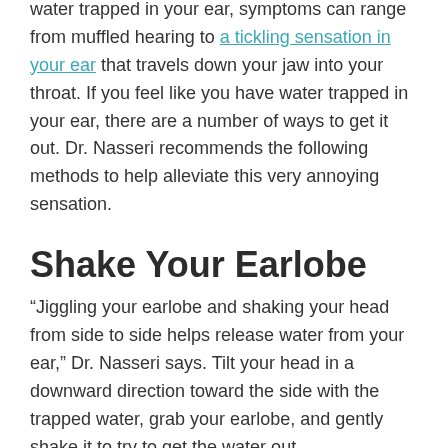water trapped in your ear, symptoms can range from muffled hearing to a tickling sensation in your ear that travels down your jaw into your throat. If you feel like you have water trapped in your ear, there are a number of ways to get it out. Dr. Nasseri recommends the following methods to help alleviate this very annoying sensation.
Shake Your Earlobe
“Jiggling your earlobe and shaking your head from side to side helps release water from your ear,” Dr. Nasseri says. Tilt your head in a downward direction toward the side with the trapped water, grab your earlobe, and gently shake it to try to get the water out.
Lie on Your Side